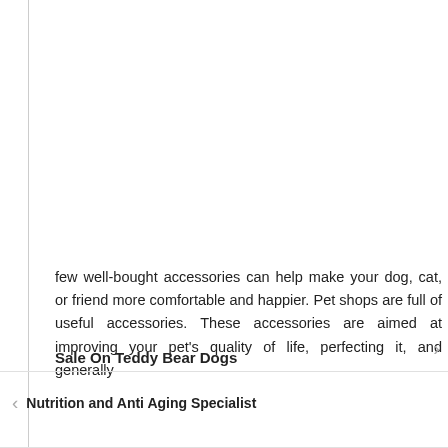[Figure (other): Social media share icons: Facebook (blue circle with f), Google+ (red circle with g+), Twitter (light blue circle with bird), and a dark circle with plus sign. Arranged vertically on the left side of the page.]
few well-bought accessories can help make your dog, cat, or friend more comfortable and happier. Pet shops are full of useful accessories. These accessories are aimed at improving your pet's quality of life, perfecting it, and generally
Sale On Teddy Bear Dogs
Nutrition and Anti Aging Specialist